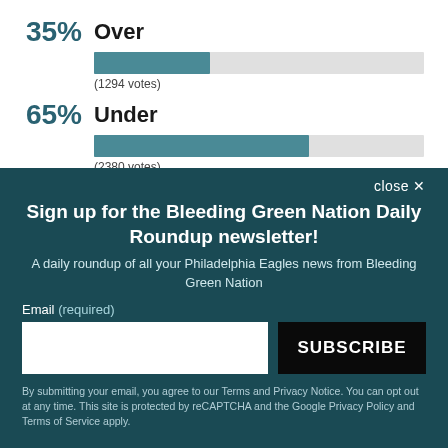[Figure (bar-chart): Poll results: Over/Under]
Sign up for the Bleeding Green Nation Daily Roundup newsletter!
A daily roundup of all your Philadelphia Eagles news from Bleeding Green Nation
By submitting your email, you agree to our Terms and Privacy Notice. You can opt out at any time. This site is protected by reCAPTCHA and the Google Privacy Policy and Terms of Service apply.